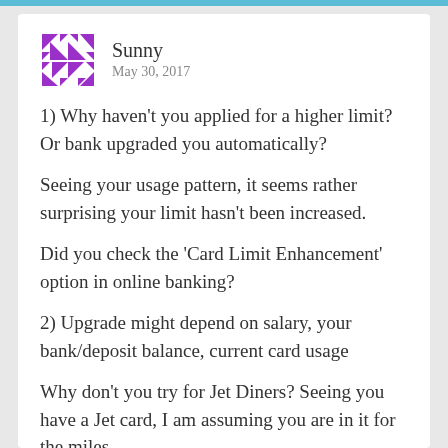Sunny
May 30, 2017
1) Why haven't you applied for a higher limit? Or bank upgraded you automatically?
Seeing your usage pattern, it seems rather surprising your limit hasn't been increased.
Did you check the 'Card Limit Enhancement' option in online banking?
2) Upgrade might depend on salary, your bank/deposit balance, current card usage
Why don't you try for Jet Diners? Seeing you have a Jet card, I am assuming you are in it for the miles.